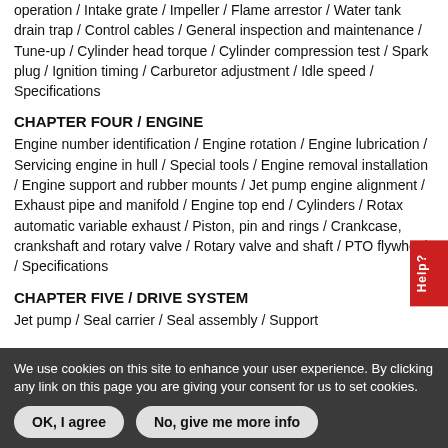operation / Intake grate / Impeller / Flame arrestor / Water tank drain trap / Control cables / General inspection and maintenance / Tune-up / Cylinder head torque / Cylinder compression test / Spark plug / Ignition timing / Carburetor adjustment / Idle speed / Specifications
CHAPTER FOUR / ENGINE
Engine number identification / Engine rotation / Engine lubrication / Servicing engine in hull / Special tools / Engine removal installation / Engine support and rubber mounts / Jet pump engine alignment / Exhaust pipe and manifold / Engine top end / Cylinders / Rotax automatic variable exhaust / Piston, pin and rings / Crankcase, crankshaft and rotary valve / Rotary valve and shaft / PTO flywheel / Specifications
CHAPTER FIVE / DRIVE SYSTEM
Jet pump / Seal carrier / Seal assembly / Support
We use cookies on this site to enhance your user experience. By clicking any link on this page you are giving your consent for us to set cookies.